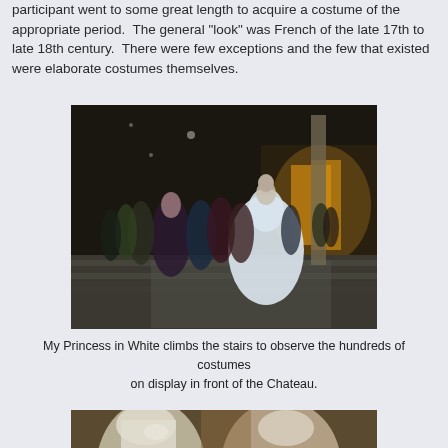participant went to some great length to acquire a costume of the appropriate period. The general "look" was French of the late 17th to late 18th century. There were few exceptions and the few that existed were elaborate costumes themselves.
[Figure (photo): Night scene showing costumed participants in elaborate period dress on steps in front of a chateau. A person in a large white gown is prominent in the foreground, climbing stairs, with many other costumed figures visible in the background.]
My Princess in White climbs the stairs to observe the hundreds of costumes on display in front of the Chateau.
[Figure (photo): Close-up photo of costumed participants at the event, partially visible at the bottom of the page.]